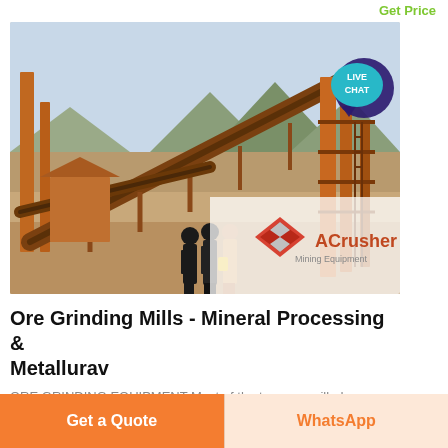Get Price
[Figure (photo): Photograph of an ore grinding / mineral processing plant with conveyor belts, steel structures, and three people standing in foreground. ACrusher Mining Equipment logo visible in bottom-right of image. A 'LIVE CHAT' speech-bubble badge overlays the top-right corner.]
Ore Grinding Mills - Mineral Processing & Metallurav
ORE GRINDING EQUIPMENT Most of the tonnage milled
Get a Quote
WhatsApp